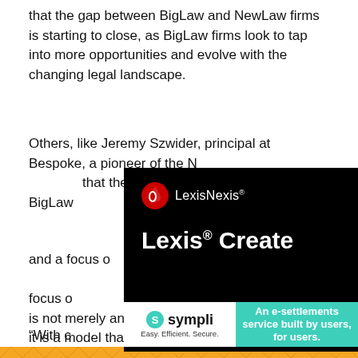that the gap between BigLaw and NewLaw firms is starting to close, as BigLaw firms look to tap into more opportunities and evolve with the changing legal landscape.
Others, like Jeremy Szwider, principal at Bespoke, a pioneer of the N[...] that the Ne[...] it of BigLaw[...]
[Figure (logo): LexisNexis advertisement overlay with black background showing LexisNexis logo and 'Lexis® Create' text in white]
"What [...] and a focus o[...] about upendi[...] del and mo[...] can focus o[...] d based results. This is not merely an alternative pricing arrangement – it is a model that delivers legal services in the context of modern technology, efficiency of services and value-based pricing," Mr Szwider says.
[Figure (logo): Sympli advertisement: 'An e-settlements service built by users, for users.' with teal background on right and Sympli logo on left]
"With c[...]